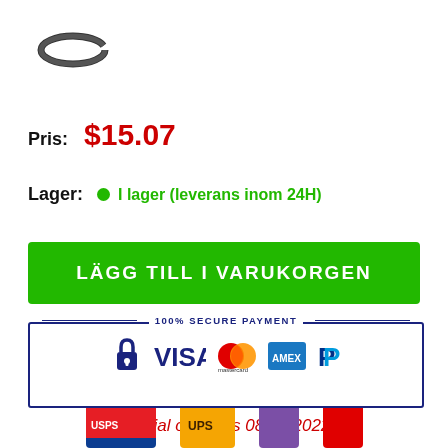[Figure (photo): Product image: black circular snap ring / retaining ring]
Pris:  $15.07
Lager:  • I lager (leverans inom 24H)
LÄGG TILL I VARUKORGEN
[Figure (infographic): 100% SECURE PAYMENT banner with lock icon, VISA, Mastercard, American Express, and PayPal logos]
special offer this 08/31/2022
[Figure (logo): Shipping carrier logos: USPS, UPS, and others partially visible]